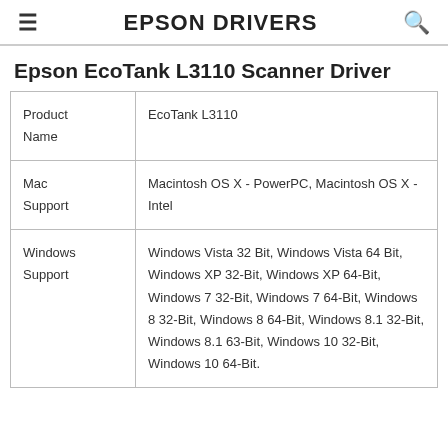EPSON DRIVERS
Epson EcoTank L3110 Scanner Driver
| Product Name | EcoTank L3110 |
| Mac Support | Macintosh OS X - PowerPC, Macintosh OS X - Intel |
| Windows Support | Windows Vista 32 Bit, Windows Vista 64 Bit, Windows XP 32-Bit, Windows XP 64-Bit, Windows 7 32-Bit, Windows 7 64-Bit, Windows 8 32-Bit, Windows 8 64-Bit, Windows 8.1 32-Bit, Windows 8.1 63-Bit, Windows 10 32-Bit, Windows 10 64-Bit. |